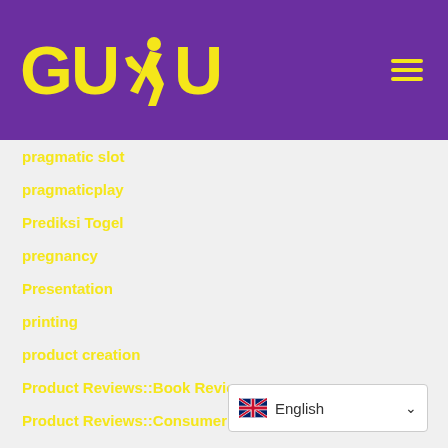[Figure (logo): GUDU logo with yellow text and runner icon on purple background, with hamburger menu icon on right]
pragmatic slot
pragmaticplay
Prediksi Togel
pregnancy
Presentation
printing
product creation
Product Reviews::Book Reviews
Product Reviews::Consumer Electronics
Product Reviews::Consumer Electronics
Product Reviews::Movie Reviews
Product Reviews::Music Reviews
[Figure (other): Language selector showing UK flag and 'English' with dropdown arrow]